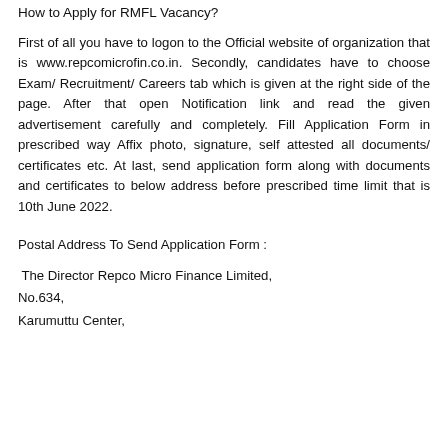How to Apply for RMFL Vacancy?
First of all you have to logon to the Official website of organization that is www.repcomicrofin.co.in. Secondly, candidates have to choose Exam/ Recruitment/ Careers tab which is given at the right side of the page. After that open Notification link and read the given advertisement carefully and completely. Fill Application Form in prescribed way Affix photo, signature, self attested all documents/ certificates etc. At last, send application form along with documents and certificates to below address before prescribed time limit that is 10th June 2022.
Postal Address To Send Application Form :
The Director Repco Micro Finance Limited,
No.634,
Karumuttu Center,